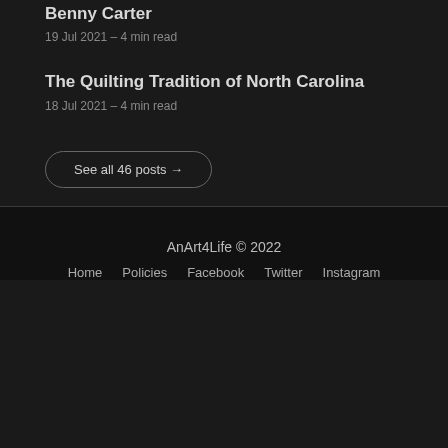Benny Carter
19 Jul 2021 – 4 min read
The Quilting Tradition of North Carolina
18 Jul 2021 – 4 min read
See all 46 posts →
AnArt4Life © 2022
Home  Policies  Facebook  Twitter  Instagram